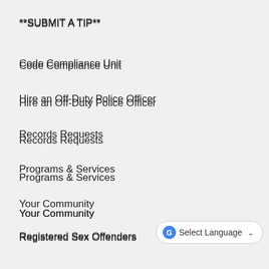**SUBMIT A TIP**
Code Compliance Unit
Hire an Off-Duty Police Officer
Records Requests
Programs & Services
Your Community
Registered Sex Offenders
Forms
Press Releases
Crime Stoppers
[Figure (other): Google Translate 'Select Language' dropdown widget with Google logo and chevron arrow]